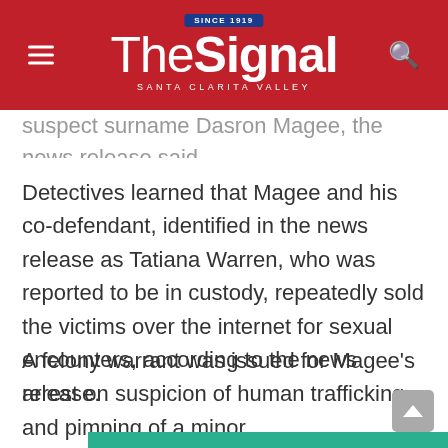The Signal – Santa Clarita Valley
suspect surname Dasron Magee, the news release said.
Detectives learned that Magee and his co-defendant, identified in the news release as Tatiana Warren, who was reported to be in custody, repeatedly sold the victims over the internet for sexual encounters, according to the news release.
A felony warrant was issued for Magee's arrest on suspicion of human trafficking and pimping of a minor.